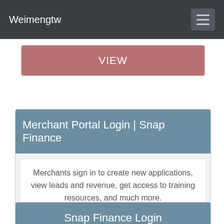Weimengtw
[Figure (screenshot): VIEW button — rose/mauve colored button with white text]
Merchant Portal Login | Snap Finance
Merchants sign in to create new applications, view leads and revenue, get access to training resources, and much more.
[Figure (screenshot): VIEW button — rose/mauve colored button with white text]
Snap Finance Login